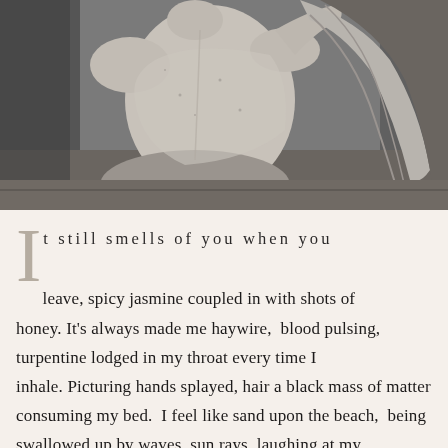[Figure (photo): Black and white photograph of a classical marble statue showing the back and side of a figure with draped fabric to the right]
It still smells of you when you leave, spicy jasmine coupled in with shots of honey. It's always made me haywire, blood pulsing, turpentine lodged in my throat every time I inhale. Picturing hands splayed, hair a black mass of matter consuming my bed. I feel like sand upon the beach, being swallowed up by waves, sun rays laughing at my drowning.